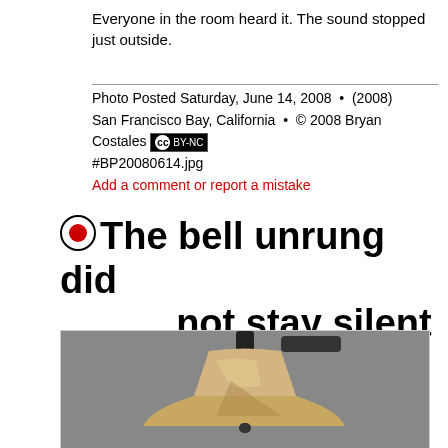Everyone in the room heard it. The sound stopped just outside.
Photo Posted Saturday, June 14, 2008  •  (2008) San Francisco Bay, California  •  © 2008 Bryan Costales [cc] BY-NC #BP20080614.jpg
Add a comment or report a mistake
The bell unrung did not stay silent for thee
(21 of 30) (22570 views)
[Figure (photo): A brass/gold colored bell mounted on a wall bracket, photographed against a grey background]